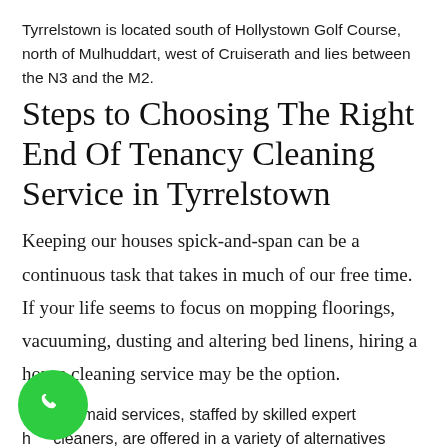Tyrrelstown is located south of Hollystown Golf Course, north of Mulhuddart, west of Cruiserath and lies between the N3 and the M2.
Steps to Choosing The Right End Of Tenancy Cleaning Service in Tyrrelstown
Keeping our houses spick-and-span can be a continuous task that takes in much of our free time. If your life seems to focus on mopping floorings, vacuuming, dusting and altering bed linens, hiring a house cleaning service may be the option.
House maid services, staffed by skilled expert house cleaners, are offered in a variety of alternatives including:
[Figure (illustration): Green circular phone call button with a white telephone handset icon]